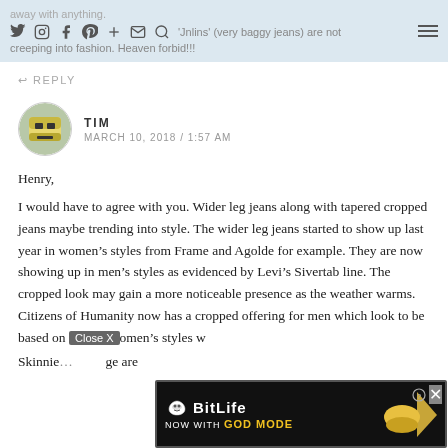away with anything. [social icons] 'Jnlins' (very baggy jeans) are not creeping into fashion. Heaven forbid!!!
REPLY
TIM
MARCH 10, 2018 / 1:57 AM
Henry,
I would have to agree with you. Wider leg jeans along with tapered cropped jeans maybe trending into style. The wider leg jeans started to show up last year in women's styles from Frame and Agolde for example. They are now showing up in men's styles as evidenced by Levi's Sivertab line. The cropped look may gain a more noticeable presence as the weather warms. Citizens of Humanity now has a cropped offering for men which look to be based on [Close X] omen's styles w[ad overlay]
Skinnie[...]ge are